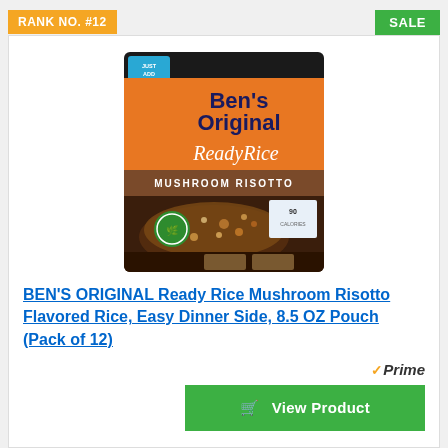RANK NO. #12
SALE
[Figure (photo): Product photo: Ben's Original Ready Rice Mushroom Risotto 8.5 OZ Pouch packaging]
BEN'S ORIGINAL Ready Rice Mushroom Risotto Flavored Rice, Easy Dinner Side, 8.5 OZ Pouch (Pack of 12)
Prime
View Product
RANK NO. #13